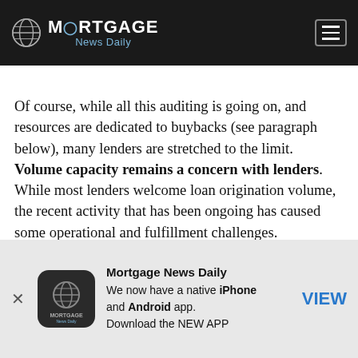Mortgage News Daily
Of course, while all this auditing is going on, and resources are dedicated to buybacks (see paragraph below), many lenders are stretched to the limit. Volume capacity remains a concern with lenders. While most lenders welcome loan origination volume, the recent activity that has been ongoing has caused some operational and fulfillment challenges. Remember when folks offered 10-day locks? I haven't seen that for a while. On average,
Mortgage News Daily
We now have a native iPhone and Android app.
Download the NEW APP